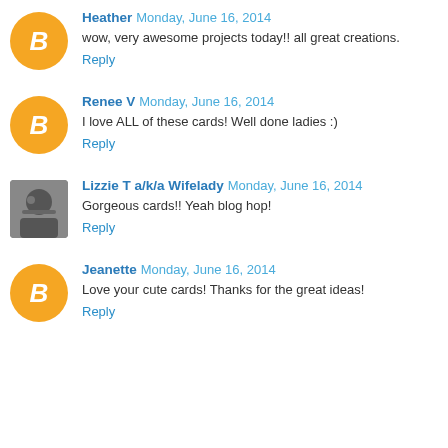Heather Monday, June 16, 2014
wow, very awesome projects today!! all great creations.
Reply
Renee V Monday, June 16, 2014
I love ALL of these cards! Well done ladies :)
Reply
Lizzie T a/k/a Wifelady Monday, June 16, 2014
Gorgeous cards!! Yeah blog hop!
Reply
Jeanette Monday, June 16, 2014
Love your cute cards! Thanks for the great ideas!
Reply